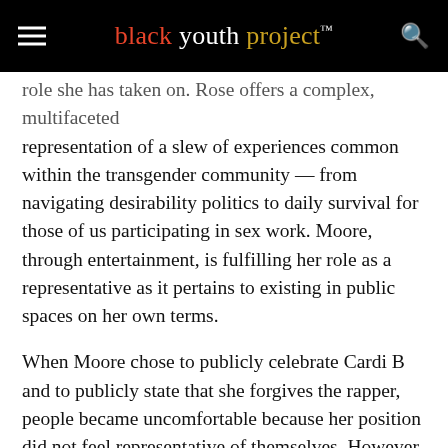black youth project™
role she has taken on. Rose offers a complex, multifaceted representation of a slew of experiences common within the transgender community — from navigating desirability politics to daily survival for those of us participating in sex work. Moore, through entertainment, is fulfilling her role as a representative as it pertains to existing in public spaces on her own terms.
When Moore chose to publicly celebrate Cardi B and to publicly state that she forgives the rapper, people became uncomfortable because her position did not feel representative of themselves. However, in Moore's decision to make her personal politics regarding forgiveness and growth so public, she actually shed additional light on the multitudes of transgender womanhood — how transgender